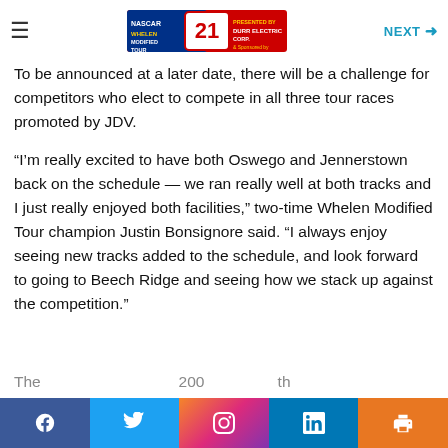NASCAR Whelen Modified Tour — NEXT
To be announced at a later date, there will be a challenge for competitors who elect to compete in all three tour races promoted by JDV.
“I’m really excited to have both Oswego and Jennerstown back on the schedule — we ran really well at both tracks and I just really enjoyed both facilities,” two-time Whelen Modified Tour champion Justin Bonsignore said. “I always enjoy seeing new tracks added to the schedule, and look forward to going to Beech Ridge and seeing how we stack up against the competition.”
Social share bar: Facebook, Twitter, Instagram, LinkedIn, Print